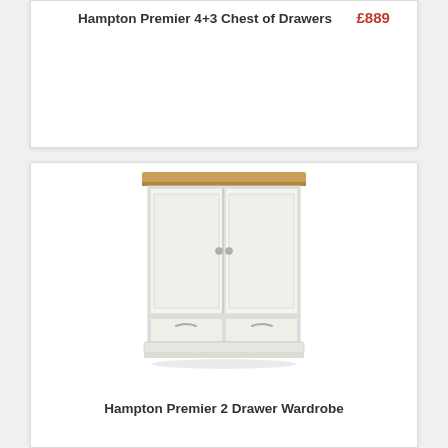Hampton Premier 4+3 Chest of Drawers
£889
[Figure (photo): White painted wardrobe with oak top, two doors and two bottom drawers with silver handles — Hampton Premier 2 Drawer Wardrobe]
Hampton Premier 2 Drawer Wardrobe